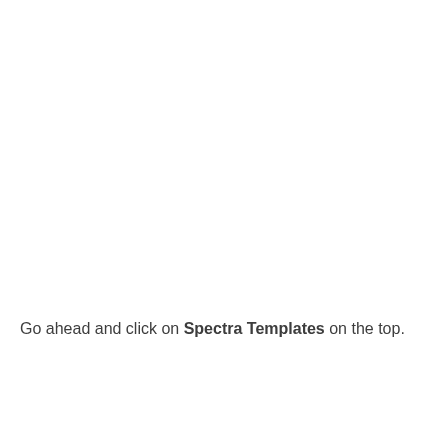Go ahead and click on Spectra Templates on the top.